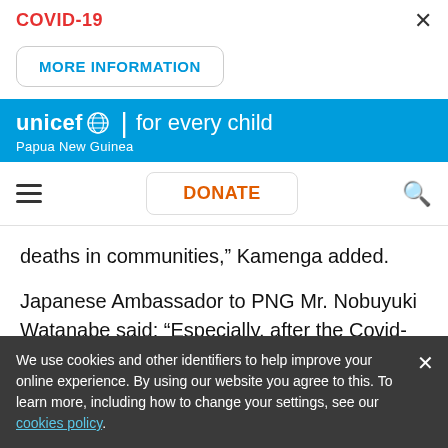COVID-19
MORE INFORMATION
unicef for every child Papua New Guinea
DONATE
deaths in communities,” Kamenga added.
Japanese Ambassador to PNG Mr. Nobuyuki Watanabe said: “Especially, after the Covid-19 pandemic started, Japan has mainly
We use cookies and other identifiers to help improve your online experience. By using our website you agree to this. To learn more, including how to change your settings, see our cookies policy.